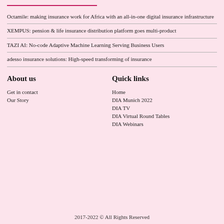Octamile: making insurance work for Africa with an all-in-one digital insurance infrastructure
XEMPUS: pension & life insurance distribution platform goes multi-product
TAZI AI: No-code Adaptive Machine Learning Serving Business Users
adesso insurance solutions: High-speed transforming of insurance
About us
Get in contact
Our Story
Quick links
Home
DIA Munich 2022
DIA TV
DIA Virtual Round Tables
DIA Webinars
2017-2022 © All Rights Reserved